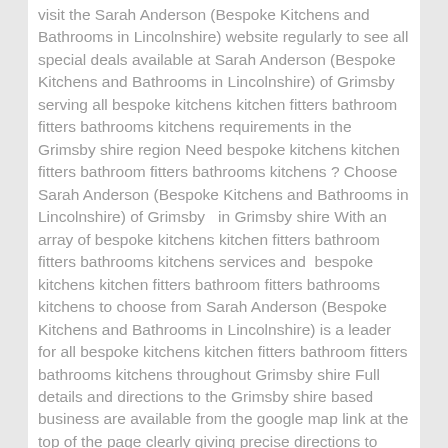visit the Sarah Anderson (Bespoke Kitchens and Bathrooms in Lincolnshire) website regularly to see all special deals available at Sarah Anderson (Bespoke Kitchens and Bathrooms in Lincolnshire) of Grimsby serving all bespoke kitchens kitchen fitters bathroom fitters bathrooms kitchens requirements in the Grimsby shire region Need bespoke kitchens kitchen fitters bathroom fitters bathrooms kitchens ? Choose Sarah Anderson (Bespoke Kitchens and Bathrooms in Lincolnshire) of Grimsby   in Grimsby shire With an array of bespoke kitchens kitchen fitters bathroom fitters bathrooms kitchens services and  bespoke kitchens kitchen fitters bathroom fitters bathrooms kitchens to choose from Sarah Anderson (Bespoke Kitchens and Bathrooms in Lincolnshire) is a leader for all bespoke kitchens kitchen fitters bathroom fitters bathrooms kitchens throughout Grimsby shire Full details and directions to the Grimsby shire based business are available from the google map link at the top of the page clearly giving precise directions to Sarah Anderson (Bespoke Kitchens and Bathrooms in